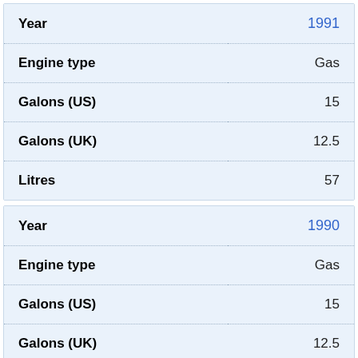| Field | Value |
| --- | --- |
| Year | 1991 |
| Engine type | Gas |
| Galons (US) | 15 |
| Galons (UK) | 12.5 |
| Litres | 57 |
| Field | Value |
| --- | --- |
| Year | 1990 |
| Engine type | Gas |
| Galons (US) | 15 |
| Galons (UK) | 12.5 |
| Litres | 57 |